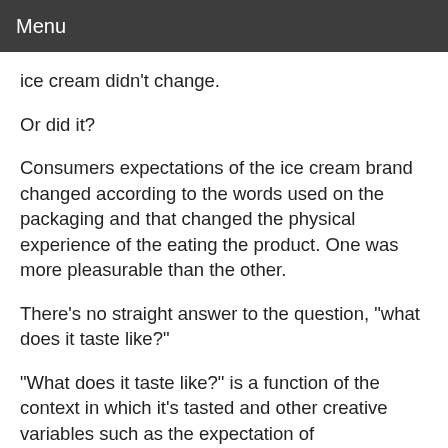Menu
ice cream didn't change.
Or did it?
Consumers expectations of the ice cream brand changed according to the words used on the packaging and that changed the physical experience of the eating the product. One was more pleasurable than the other.
There's no straight answer to the question, "what does it taste like?"
"What does it taste like?" is a function of the context in which it's tasted and other creative variables such as the expectation of